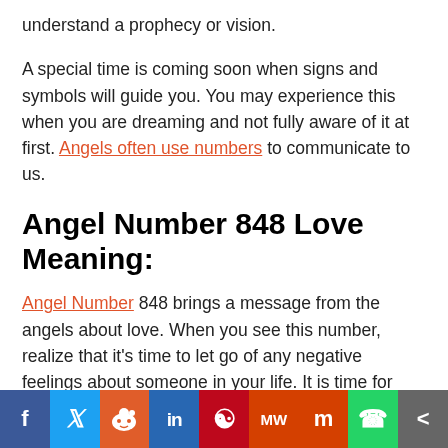understand a prophecy or vision.
A special time is coming soon when signs and symbols will guide you. You may experience this when you are dreaming and not fully aware of it at first. Angels often use numbers to communicate to us.
Angel Number 848 Love Meaning:
Angel Number 848 brings a message from the angels about love. When you see this number, realize that it's time to let go of any negative feelings about someone in your life. It is time for forgiveness and you to give love like never before.
[Figure (infographic): Social media share bar with icons: Facebook, Twitter, Reddit, LinkedIn, Pinterest, MeWe, Mix, WhatsApp, Share]